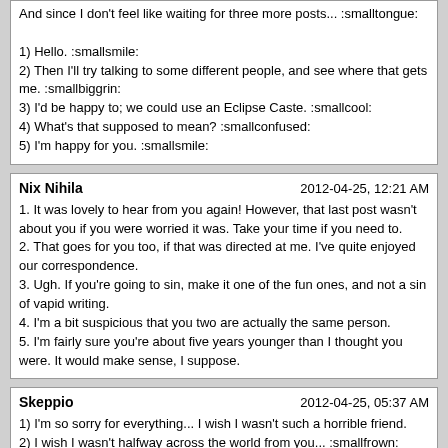And since I don't feel like waiting for three more posts... :smalltongue:

1) Hello. :smallsmile:
2) Then I'll try talking to some different people, and see where that gets me. :smallbiggrin:
3) I'd be happy to; we could use an Eclipse Caste. :smallcool:
4) What's that supposed to mean? :smallconfused:
5) I'm happy for you. :smallsmile:
Nix Nihila
2012-04-25, 12:21 AM

1. It was lovely to hear from you again! However, that last post wasn't about you if you were worried it was. Take your time if you need to.
2. That goes for you too, if that was directed at me. I've quite enjoyed our correspondence.
3. Ugh. If you're going to sin, make it one of the fun ones, and not a sin of vapid writing.
4. I'm a bit suspicious that you two are actually the same person.
5. I'm fairly sure you're about five years younger than I thought you were. It would make sense, I suppose.
Skeppio
2012-04-25, 05:37 AM

1) I'm so sorry for everything... I wish I wasn't such a horrible friend.
2) I wish I wasn't halfway across the world from you... :smallfrown:
3) Pretty sure you've blocked me, but I want you to know how sorry I am, and how much I wish we could speak again.
4) It's always great hearing from you. I wish I saw you more often.
5) I should chat to you more often. :smalltongue:
Indurain
2012-04-25, 07:05 PM

1. I'm sorry I don't speak German.
2. I like the way you think. Go big or go home!
3. This comment is about you - you ARE awesome!